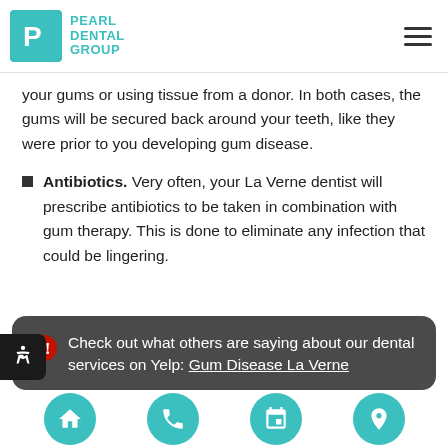PEARL DENTAL GROUP
your gums or using tissue from a donor. In both cases, the gums will be secured back around your teeth, like they were prior to you developing gum disease.
Antibiotics. Very often, your La Verne dentist will prescribe antibiotics to be taken in combination with gum therapy. This is done to eliminate any infection that could be lingering.
Check out what others are saying about our dental services on Yelp: Gum Disease La Verne
Navigation icons: home, phone, calendar, location